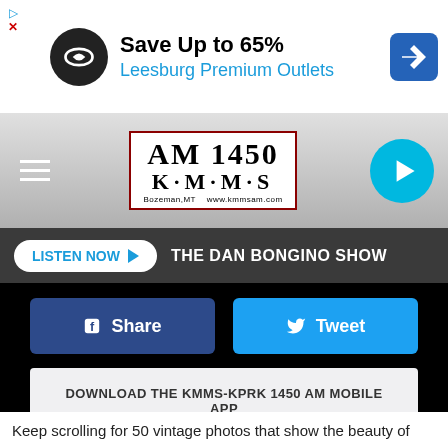[Figure (screenshot): Ad banner: Save Up to 65% Leesburg Premium Outlets with logo and arrow icon]
[Figure (logo): AM 1450 KMMS radio station logo, Bozeman MT www.kmmsam.com]
LISTEN NOW ▶  THE DAN BONGINO SHOW
Share
Tweet
DOWNLOAD THE KMMS-KPRK 1450 AM MOBILE APP
GET OUR FREE MOBILE APP
Also listen on: amazon alexa
Keep scrolling for 50 vintage photos that show the beauty of